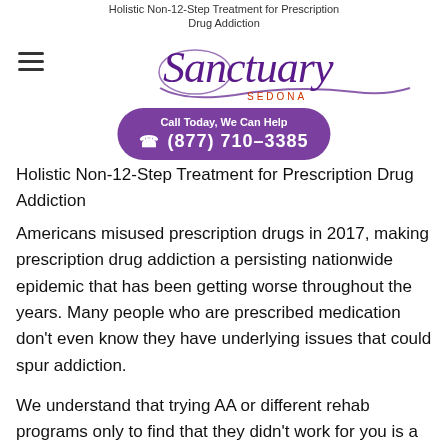Holistic Non-12-Step Treatment for Prescription Drug Addiction
[Figure (logo): Sanctuary Sedona logo in cursive purple script with swoosh underline and 'SEDONA' in red spaced capitals beneath]
Call Today, We Can Help
(877) 710-3385
Holistic Non-12-Step Treatment for Prescription Drug Addiction
Americans misused prescription drugs in 2017, making prescription drug addiction a persisting nationwide epidemic that has been getting worse throughout the years. Many people who are prescribed medication don't even know they have underlying issues that could spur addiction.
We understand that trying AA or different rehab programs only to find that they didn't work for you is a frustrating place to be.